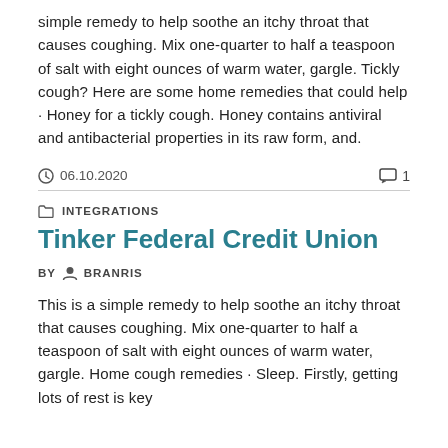simple remedy to help soothe an itchy throat that causes coughing. Mix one-quarter to half a teaspoon of salt with eight ounces of warm water, gargle. Tickly cough? Here are some home remedies that could help · Honey for a tickly cough. Honey contains antiviral and antibacterial properties in its raw form, and.
06.10.2020   1
INTEGRATIONS
Tinker Federal Credit Union
BY  BRANRIS
This is a simple remedy to help soothe an itchy throat that causes coughing. Mix one-quarter to half a teaspoon of salt with eight ounces of warm water, gargle. Home cough remedies · Sleep. Firstly, getting lots of rest is key